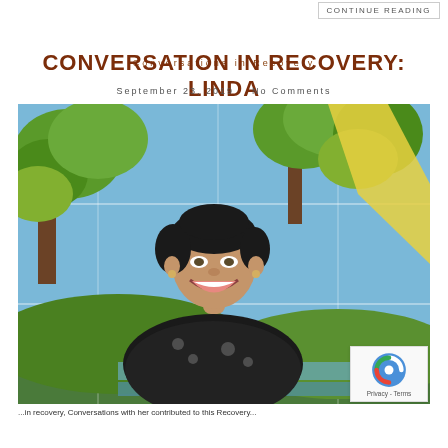CONTINUE READING
Conversations in Recovery
CONVERSATION IN RECOVERY: LINDA
September 23, 2019   No Comments
[Figure (photo): Woman with short dark hair smiling in front of a colorful mural depicting trees, blue sky, and sunshine]
...in recovery, Conversations with her contributed to this Recovery...